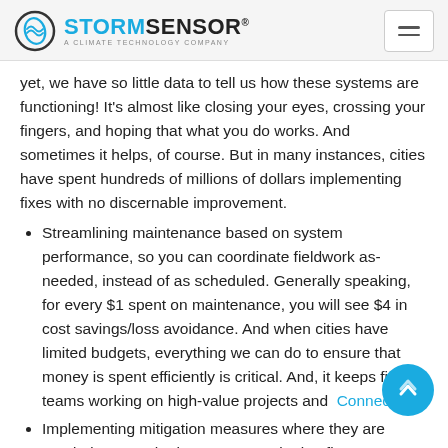StormSensor® — A Climate Technology Company
yet, we have so little data to tell us how these systems are functioning! It's almost like closing your eyes, crossing your fingers, and hoping that what you do works. And sometimes it helps, of course. But in many instances, cities have spent hundreds of millions of dollars implementing fixes with no discernable improvement.
Streamlining maintenance based on system performance, so you can coordinate fieldwork as-needed, instead of as scheduled. Generally speaking, for every $1 spent on maintenance, you will see $4 in cost savings/loss avoidance. And when cities have limited budgets, everything we can do to ensure that money is spent efficiently is critical. And, it keeps field teams working on high-value projects and Connect
Implementing mitigation measures where they are needed most. Whether you're monitoring flow—so you